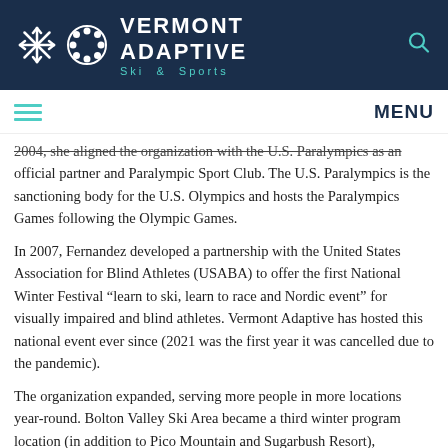[Figure (logo): Vermont Adaptive Ski & Sports website header with logo (snowflake icon, circular decorative icon), organization name, and search icon on dark navy background]
MENU
2004, she aligned the organization with the U.S. Paralympics as an official partner and Paralympic Sport Club. The U.S. Paralympics is the sanctioning body for the U.S. Olympics and hosts the Paralympics Games following the Olympic Games.
In 2007, Fernandez developed a partnership with the United States Association for Blind Athletes (USABA) to offer the first National Winter Festival “learn to ski, learn to race and Nordic event” for visually impaired and blind athletes. Vermont Adaptive has hosted this national event ever since (2021 was the first year it was cancelled due to the pandemic).
The organization expanded, serving more people in more locations year-round. Bolton Valley Ski Area became a third winter program location (in addition to Pico Mountain and Sugarbush Resort), providing residents in Burlington and Chittenden county a convenient location for winter adaptive sports and recreation. introduced new programs including the EcoAble environmental initiative, CORE Connections wellness retreats, year-round V Ventures programs, adaptive mountain biking, special fundraising